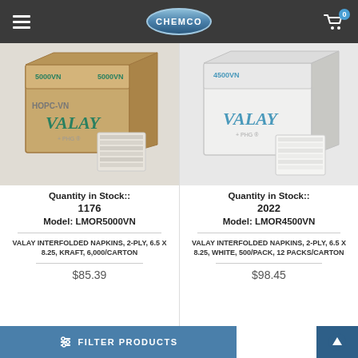CHEMCO – navigation header with hamburger menu, logo, and cart (0 items)
[Figure (photo): Product photo: VALAY 5000VN brown kraft box with interfolded napkins in front, model LMOR5000VN]
Quantity in Stock:: 1176
Model: LMOR5000VN
VALAY INTERFOLDED NAPKINS, 2-PLY, 6.5 X 8.25, KRAFT, 6,000/CARTON
$85.39
[Figure (photo): Product photo: VALAY 4500VN white box with interfolded napkins in front, model LMOR4500VN]
Quantity in Stock:: 2022
Model: LMOR4500VN
VALAY INTERFOLDED NAPKINS, 2-PLY, 6.5 X 8.25, WHITE, 500/PACK, 12 PACKS/CARTON
$98.45